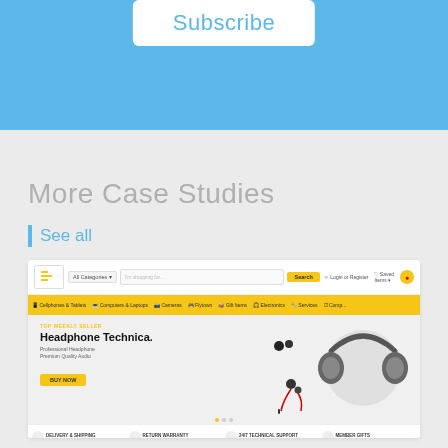Subscribe
More Case Studies
See all
[Figure (screenshot): Screenshot of an e-commerce website showing a navigation bar with categories, a search bar with yellow Search button, and a hero banner featuring 'Headphone Technica.' with headphone product image, a yellow BUY NOW button, and a footer row with icons for Delivery & Shipping, Return Warranty, 24/7 Technical Support, and Member Gifts.]